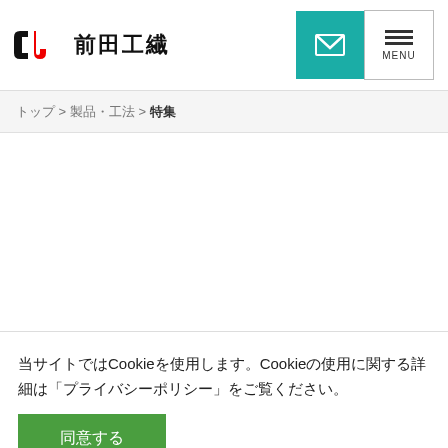CJ 前田工繊 [logo] | email button | MENU button
トップ > 製品・工法 > 特集
当サイトではCookieを使用します。Cookieの使用に関する詳細は「プライバシーポリシー」をご覧ください。
同意する